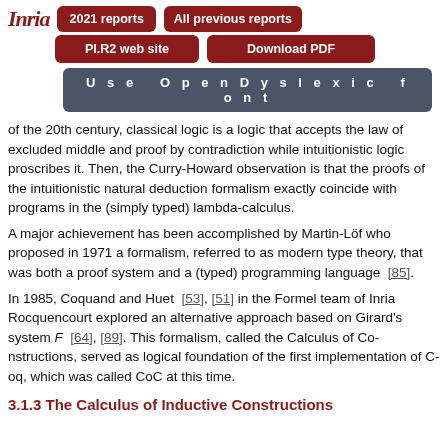Inria  2021 reports  All previous reports
PI.R2 web site  Download PDF
Use OpenDyslexic font
of the 20th century, classical logic is a logic that accepts the law of excluded middle and proof by contradiction while intuitionistic logic proscribes it. Then, the Curry-Howard observation is that the proofs of the intuitionistic natural deduction formalism exactly coincide with programs in the (simply typed) lambda-calculus.
A major achievement has been accomplished by Martin-Löf who proposed in 1971 a formalism, referred to as modern type theory, that was both a proof system and a (typed) programming language [85].
In 1985, Coquand and Huet [53], [51] in the Formel team of Inria Rocquencourt explored an alternative approach based on Girard's system F [64], [89]. This formalism, called the Calculus of Constructions, served as logical foundation of the first implementation of Coq, which was called CoC at this time.
3.1.3 The Calculus of Inductive Constructions